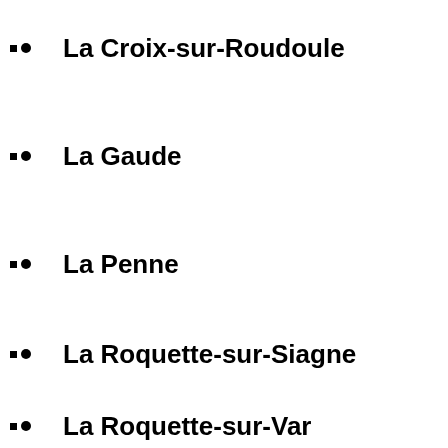La Croix-sur-Roudoule
La Gaude
La Penne
La Roquette-sur-Siagne
La Roquette-sur-Var